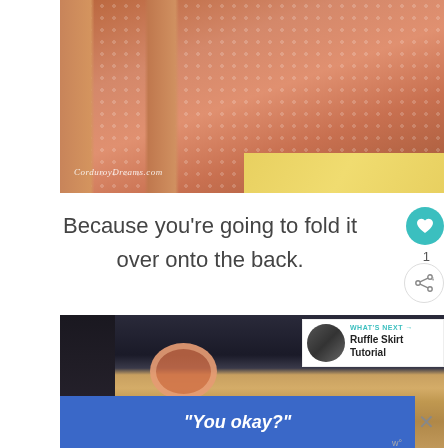[Figure (photo): Coral/orange patterned fabric or paper cutout in the shape of an animal or decorative shape, leaning against a wooden crate, with yellow patterned surface visible at bottom. Watermark reads CorduroyDreams.com]
Because you're going to fold it over onto the back.
[Figure (photo): Wooden crate or box with a donut-shaped decorative element visible, dark background element on left side. Partially obscured by overlay elements.]
WHAT'S NEXT → Ruffle Skirt Tutorial
[Figure (screenshot): Blue advertisement bar with italic white bold text reading "You okay?"]